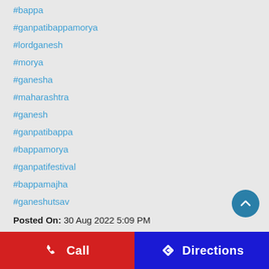#bappa
#ganpatibappamorya
#lordganesh
#morya
#ganesha
#maharashtra
#ganesh
#ganpatibappa
#bappamorya
#ganpatifestival
#bappamajha
#ganeshutsav
Posted On: 30 Aug 2022 5:09 PM
Call | Directions